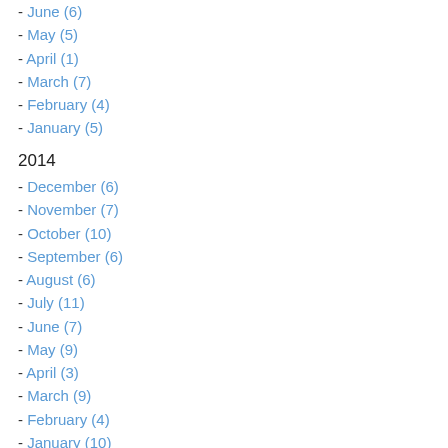- June (6)
- May (5)
- April (1)
- March (7)
- February (4)
- January (5)
2014
- December (6)
- November (7)
- October (10)
- September (6)
- August (6)
- July (11)
- June (7)
- May (9)
- April (3)
- March (9)
- February (4)
- January (10)
2013
- December (4)
- November (7)